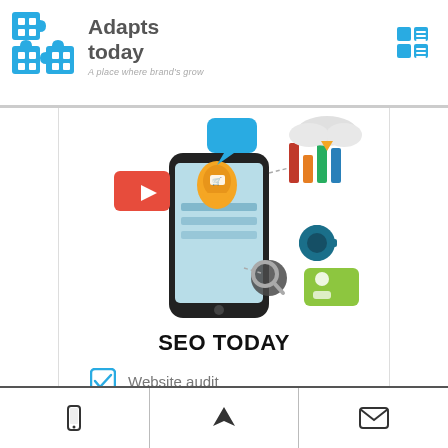Adapts today — A place where brand's grow
[Figure (illustration): Isometric illustration of a smartphone with digital marketing icons: bar chart, cloud, video play button, location pin with shopping cart, search magnifier, settings gear, and user profile icon floating around the phone.]
SEO TODAY
Website audit
On-page SEO
Phone | Navigation | Email